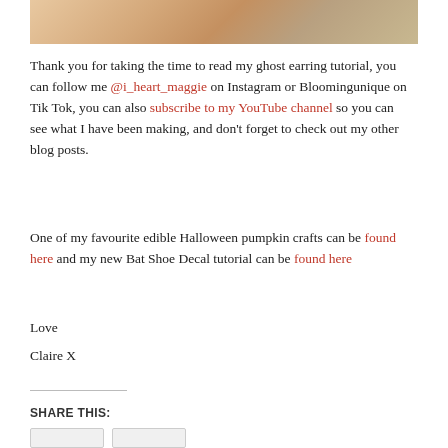[Figure (photo): Partial photo showing skin and hair, top portion of an image cropped at the top of the page]
Thank you for taking the time to read my ghost earring tutorial, you can follow me @i_heart_maggie on Instagram or Bloomingunique on Tik Tok, you can also subscribe to my YouTube channel so you can see what I have been making, and don't forget to check out my other blog posts.
One of my favourite edible Halloween pumpkin crafts can be found here and my new Bat Shoe Decal tutorial can be found here
Love
Claire X
SHARE THIS: